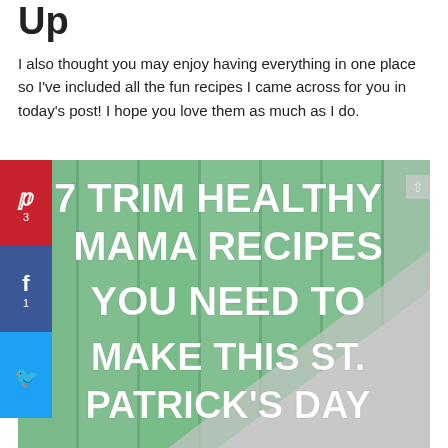Up
I also thought you may enjoy having everything in one place so I've included all the fun recipes I came across for you in today's post! I hope you love them as much as I do.
[Figure (photo): Green and white wood plank background with white handwritten-style text reading '7 TRIM HEALTHY MAMA RECIPES YOU NEED TO MAKE THIS ST. PATRICK'S DAY'. Social share buttons on the left side showing Pinterest (3 shares), Facebook (1 share), and Twitter.]